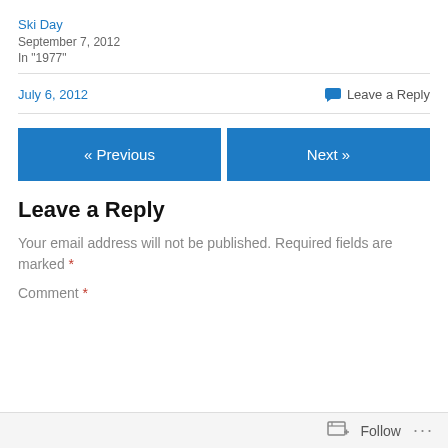Ski Day
September 7, 2012
In "1977"
July 6, 2012    💬 Leave a Reply
« Previous    Next »
Leave a Reply
Your email address will not be published. Required fields are marked *
Comment *
Follow  ...